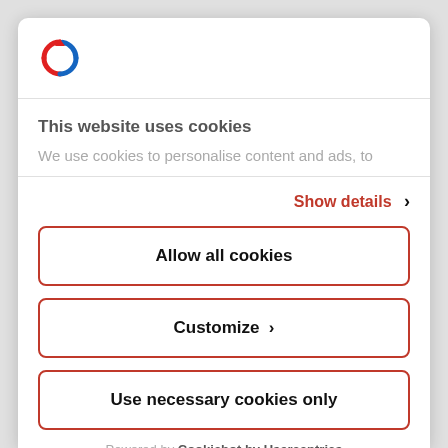[Figure (logo): Circular arrow logo — red left half and blue right half forming an open circle]
This website uses cookies
We use cookies to personalise content and ads, to
Show details >
Allow all cookies
Customize >
Use necessary cookies only
Powered by Cookiebot by Usercentrics